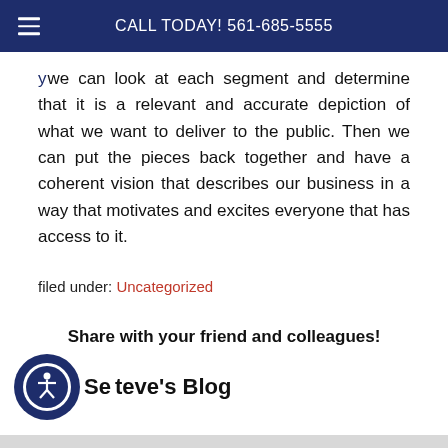CALL TODAY! 561-685-5555
we can look at each segment and determine that it is a relevant and accurate depiction of what we want to deliver to the public. Then we can put the pieces back together and have a coherent vision that describes our business in a way that motivates and excites everyone that has access to it.
filed under: Uncategorized
Share with your friend and colleagues!
See Steve's Blog